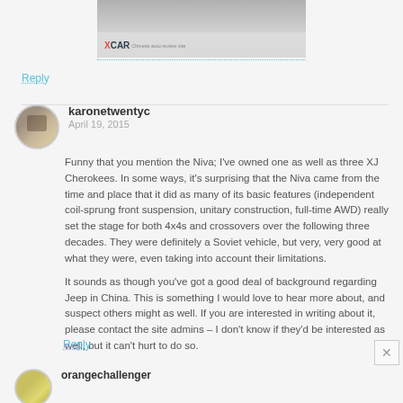[Figure (screenshot): Video thumbnail with XCAR logo at bottom left, showing a car scene]
Reply
karonetwentyc
April 19, 2015

Funny that you mention the Niva; I've owned one as well as three XJ Cherokees. In some ways, it's surprising that the Niva came from the time and place that it did as many of its basic features (independent coil-sprung front suspension, unitary construction, full-time AWD) really set the stage for both 4x4s and crossovers over the following three decades. They were definitely a Soviet vehicle, but very, very good at what they were, even taking into account their limitations.

It sounds as though you've got a good deal of background regarding Jeep in China. This is something I would love to hear more about, and suspect others might as well. If you are interested in writing about it, please contact the site admins – I don't know if they'd be interested as well, but it can't hurt to do so.
Reply
orangechallenger